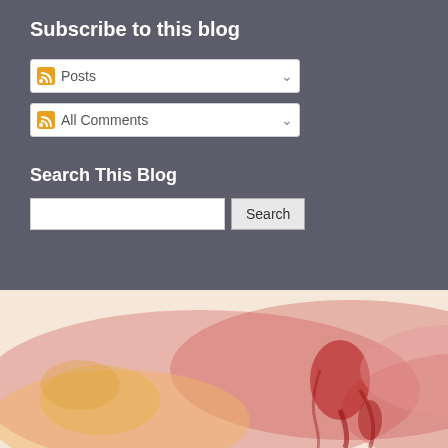Subscribe to this blog
Posts
All Comments
Search This Blog
[Figure (illustration): Watercolor painting with red, pink, yellow, and orange splashes and drips on white background]
for Collins.
But I would hope it would in 2012, I thought this was great if Jason Collins brea
Brooklyn possesses a gro overall LGBT community. media and its hyper-scrut
One of the minority owne Obama's announced supp homes is their business, a different than discriminati
Here's another point.  Jas Again, perfect symmetry.
Posted by Steve Charing
Labels: Brooklyn Nets, Da Sports Illustrated, Washin